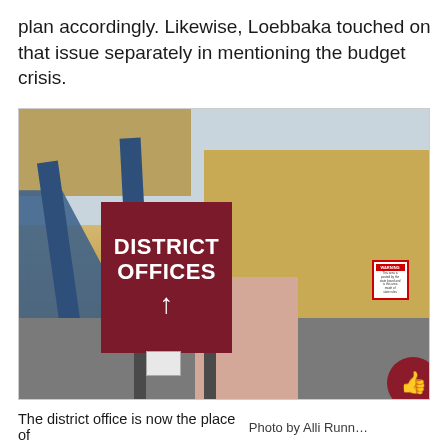plan accordingly. Likewise, Loebbaka touched on that issue separately in mentioning the budget crisis.
[Figure (photo): Exterior photo of a school district office building showing a dark red sign reading 'DISTRICT OFFICES' with an upward arrow, blue metal railings, yellow corrugated metal walls, and a pink concrete barrier.]
The district office is now the place of     Photo by Alli Runn…